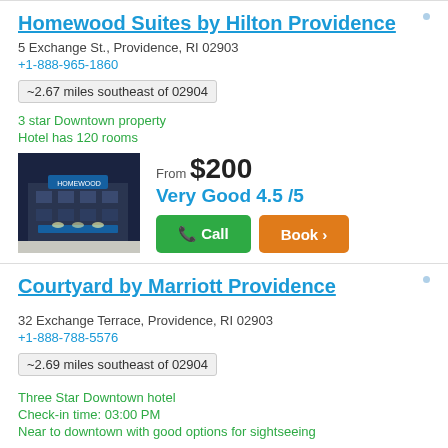Homewood Suites by Hilton Providence
5 Exchange St., Providence, RI 02903
+1-888-965-1860
~2.67 miles southeast of 02904
3 star Downtown property
Hotel has 120 rooms
[Figure (photo): Hotel exterior photo showing illuminated entrance canopy and glass facade at night]
From $200
Very Good 4.5 /5
Call | Book
Courtyard by Marriott Providence
32 Exchange Terrace, Providence, RI 02903
+1-888-788-5576
~2.69 miles southeast of 02904
Three Star Downtown hotel
Check-in time: 03:00 PM
Near to downtown with good options for sightseeing